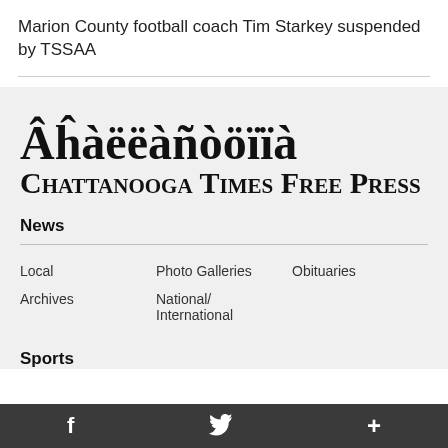Marion County football coach Tim Starkey suspended by TSSAA
[Figure (logo): Chattanooga Times Free Press gothic/blackletter logo]
News
Local
Photo Galleries
Obituaries
Archives
National/International
Sports
f  (twitter bird)  +